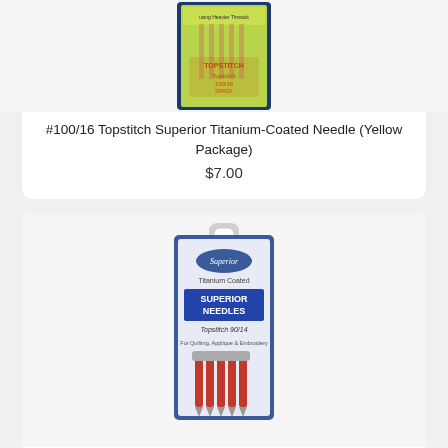[Figure (photo): Partial view of yellow package of Topstitch Superior Titanium-Coated needles, size 100/16, showing needles at top]
#100/16 Topstitch Superior Titanium-Coated Needle (Yellow Package)
$7.00
[Figure (photo): Blue package of Superior Titanium Coated Needles, Topstitch 90/14, for Quilting, Applique & Embroidery, showing 5 red-handled needles]
1329014 Superior Titanium Coated